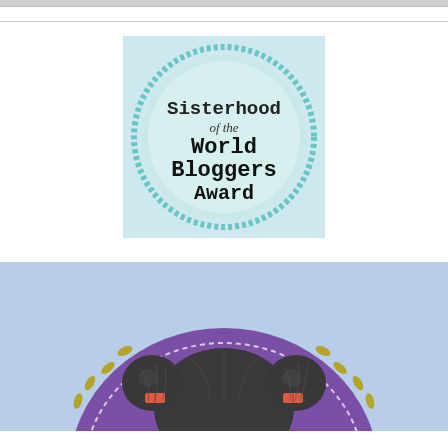[Figure (illustration): Sisterhood of the World Bloggers Award badge: a circular teal/mint badge with decorative border, containing the text 'Sisterhood of the World Bloggers Award' in serif/typewriter fonts on a light blue background square.]
[Figure (illustration): Illustrated character with dark hair in two buns with red hair clips, wearing a purple headband with leaf decorations, light blue background, cartoon style illustration showing top of head and hair.]